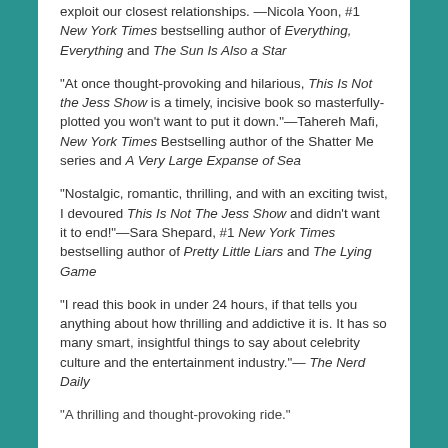exploit our closest relationships. —Nicola Yoon, #1 New York Times bestselling author of Everything, Everything and The Sun Is Also a Star
“At once thought-provoking and hilarious, This Is Not the Jess Show is a timely, incisive book so masterfully-plotted you won’t want to put it down.”—Tahereh Mafi, New York Times Bestselling author of the Shatter Me series and A Very Large Expanse of Sea
“Nostalgic, romantic, thrilling, and with an exciting twist, I devoured This Is Not The Jess Show and didn’t want it to end!”—Sara Shepard, #1 New York Times bestselling author of Pretty Little Liars and The Lying Game
“I read this book in under 24 hours, if that tells you anything about how thrilling and addictive it is. It has so many smart, insightful things to say about celebrity culture and the entertainment industry.”— The Nerd Daily